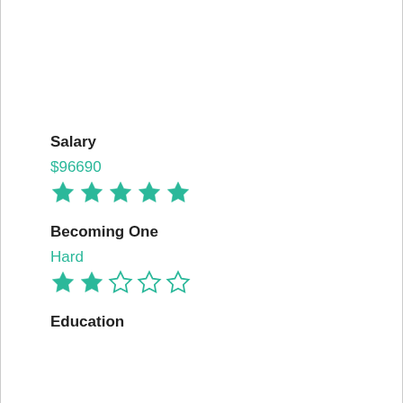Salary
$96690
[Figure (infographic): 5 filled teal stars representing salary rating]
Becoming One
Hard
[Figure (infographic): 2 filled teal stars and 3 empty stars representing difficulty rating]
Education